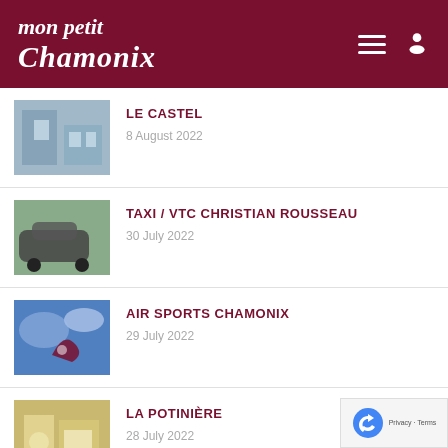mon petit Chamonix
LE CASTEL
8 August 2022
TAXI / VTC CHRISTIAN ROUSSEAU
30 July 2022
AIR SPORTS CHAMONIX
29 July 2022
LA POTINIÈRE
28 July 2022
LE COMPTOIR DES ALPES
26 July 2022